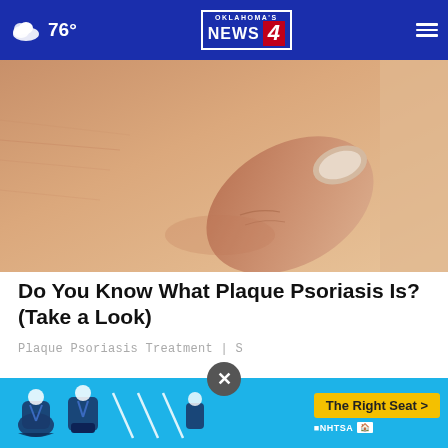76° | Oklahoma's News 4
[Figure (photo): Close-up photo of a thumb pressing on bare skin, illustrating a skin condition (plaque psoriasis)]
Do You Know What Plaque Psoriasis Is? (Take a Look)
Plaque Psoriasis Treatment | S
WHAT DO YOU THINK?
How likely... agree... Novem...
[Figure (infographic): NHTSA ad banner: 'The Right Seat >' button with child car seat icons on blue background]